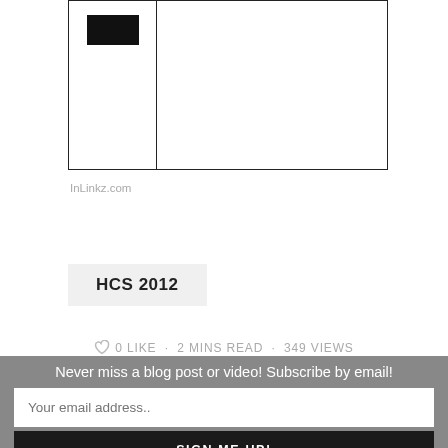[Figure (screenshot): Widget box with thumbnail (black rectangle) on left side and empty white area on right side, bordered with thin black lines]
InLinkz.com
HCS 2012
0 LIKE · 2 MINS READ · 349 VIEWS
[Figure (other): Four salmon/coral colored social media icon circles (Facebook, Twitter, Pinterest, Email)]
Never miss a blog post or video! Subscribe by email!
Your email address..
SIGN ME UP!